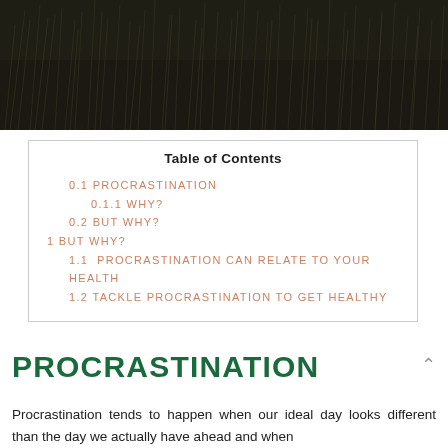[Figure (photo): Dark moody photo of wild grass/reeds against a dark background]
| Table of Contents |
| --- |
| 0.1 PROCRASTINATION |
| 0.1.1 WHY? |
| 0.2 BUT WHY? |
| 1 BUT WHY? |
| 1.1 PROCRASTINATION CAN RELATE TO YOUR HEALTH |
| 1.2 TACKLE PROCRASTINATION TO GET HEALTHY |
PROCRASTINATION
Procrastination tends to happen when our ideal day looks different than the day we actually have ahead and when